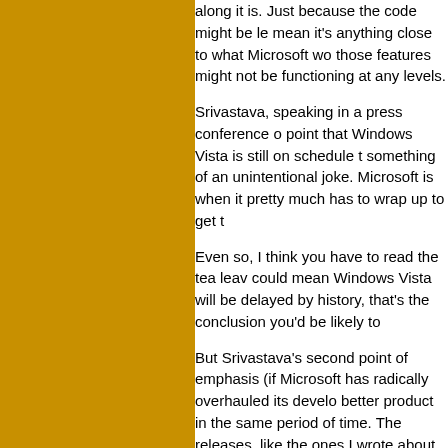[Figure (other): Golden/amber colored sidebar on the left side of the page]
along it is. Just because the code might be re mean it's anything close to what Microsoft wo those features might not be functioning at any levels.
Srivastava, speaking in a press conference on point that Windows Vista is still on schedule to something of an unintentional joke. Microsoft is when it pretty much has to wrap up to get th
Even so, I think you have to read the tea leav could mean Windows Vista will be delayed by history, that's the conclusion you'd be likely to
But Srivastava's second point of emphasis (if Microsoft has radically overhauled its develop better product in the same period of time. The releases, like the ones I wrote about in the Oc part of that fundamental change. Microsoft is earlier in the development process, both to he problems as early as possible so it has more
I wrote about this a couple months back, whe
I'm completely in favor of this change, assumi should mean final code that has fewer bugs a developers as Microsoft has, learning about is four months before a major new operating sys better chance to assign a dev teams to them i handled Windows beta cycles for quite a whil large number of interim beta releases with es